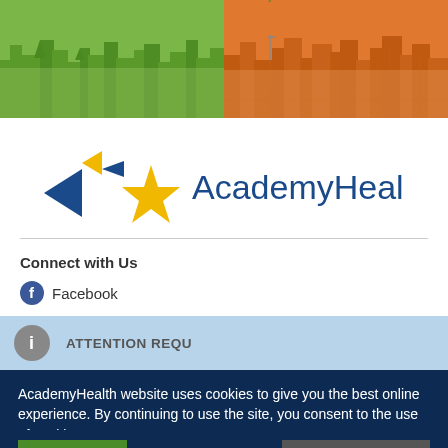[Figure (illustration): AcademyHealth website header banner with illustrated city skyline silhouettes in green and orange/brown tones against a white background]
[Figure (logo): AcademyHealth logo with blue and yellow arrow/star shapes on the left and 'AcademyHealth' text in dark blue on the right]
Connect with Us
Facebook
ATTENTION REQU
AcademyHealth website uses cookies to give you the best online experience. By continuing to use the site, you consent to the use of cookies.
Accept
Privacy Center
Professional Resources